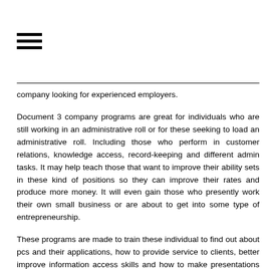[Figure (other): Hamburger menu icon (three horizontal lines)]
company looking for experienced employers.
Document 3 company programs are great for individuals who are still working in an administrative roll or for these seeking to load an administrative roll. Including those who perform in customer relations, knowledge access, record-keeping and different admin tasks. It may help teach those that want to improve their ability sets in these kind of positions so they can improve their rates and produce more money. It will even gain those who presently work their own small business or are about to get into some type of entrepreneurship.
These programs are made to train these individual to find out about pcs and their applications, how to provide service to clients, better improve information access skills and how to make presentations through spreadsheets, slideshows and other text documents. Additionally there are different niches and sub-niches of organization document 3's you can obtain. This can help better pinpoint what the curriculum shows you. For example, you can take courses for the medical field, accounting firms and/or for smaller type of company businesses.